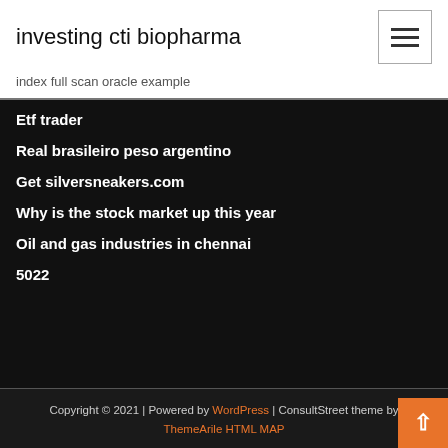investing cti biopharma
index full scan oracle example
Etf trader
Real brasileiro peso argentino
Get silversneakers.com
Why is the stock market up this year
Oil and gas industries in chennai
5022
Copyright © 2021 | Powered by WordPress | ConsultStreet theme by ThemeArile HTML MAP